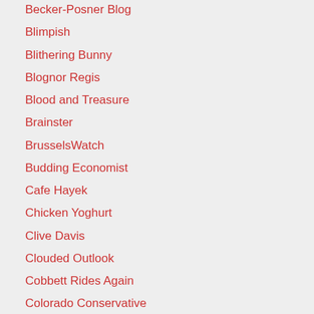Becker-Posner Blog
Blimpish
Blithering Bunny
Blognor Regis
Blood and Treasure
Brainster
BrusselsWatch
Budding Economist
Cafe Hayek
Chicken Yoghurt
Clive Davis
Clouded Outlook
Cobbett Rides Again
Colorado Conservative
Conservative Home
Cranky Neocon